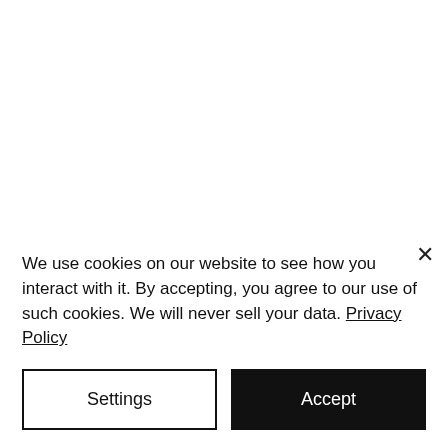We use cookies on our website to see how you interact with it. By accepting, you agree to our use of such cookies. We will never sell your data. Privacy Policy
Settings
Accept